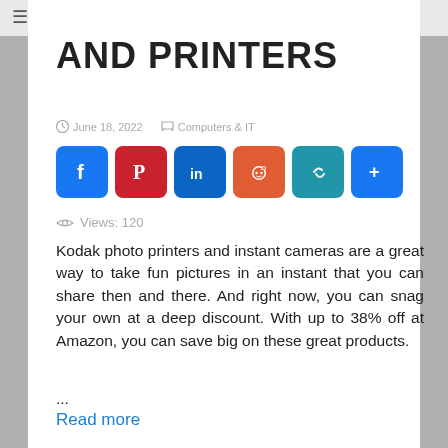GearOpen
AND PRINTERS
June 18, 2022  Computers & IT
[Figure (infographic): Social share buttons: Facebook (blue), Pinterest (red), LinkedIn (blue), Reddit (orange), Copy link (teal), More (blue)]
Views: 120
Kodak photo printers and instant cameras are a great way to take fun pictures in an instant that you can share then and there. And right now, you can snag your own at a deep discount. With up to 38% off at Amazon, you can save big on these great products.
...
Read more